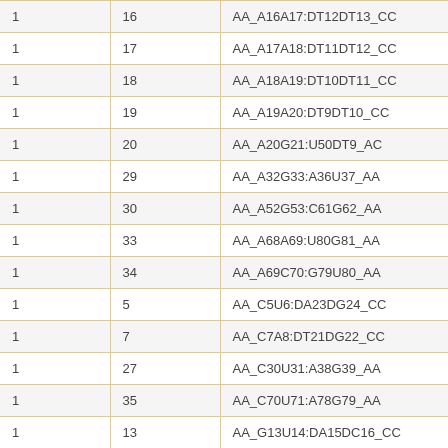| 1 | 16 | AA_A16A17:DT12DT13_CC |
| 1 | 17 | AA_A17A18:DT11DT12_CC |
| 1 | 18 | AA_A18A19:DT10DT11_CC |
| 1 | 19 | AA_A19A20:DT9DT10_CC |
| 1 | 20 | AA_A20G21:U50DT9_AC |
| 1 | 29 | AA_A32G33:A36U37_AA |
| 1 | 30 | AA_A52G53:C61G62_AA |
| 1 | 33 | AA_A68A69:U80G81_AA |
| 1 | 34 | AA_A69C70:G79U80_AA |
| 1 | 5 | AA_C5U6:DA23DG24_CC |
| 1 | 7 | AA_C7A8:DT21DG22_CC |
| 1 | 27 | AA_C30U31:A38G39_AA |
| 1 | 35 | AA_C70U71:A78G79_AA |
| 1 | 13 | AA_G13U14:DA15DC16_CC |
| 1 | 21 | AA_G21U22:A49U50_AA |
| 1 | 26 | AA_G29C30:G39C40_AA |
| 1 | 31 | AA_G53G54:C60C61_AA |
| 1 | 32 | AA_G54C55:G58C60_AA |
| 1 | 2 | AA_U2A3:DT26DA27_CC |